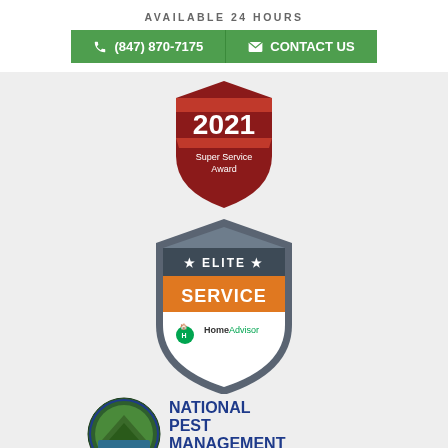AVAILABLE 24 HOURS
(847) 870-7175
CONTACT US
[Figure (logo): 2021 Super Service Award badge - red shield shape with '2021' in white bold text and 'Super Service Award' below]
[Figure (logo): HomeAdvisor Elite Service badge - gray shield with star ELITE star text on dark band, orange SERVICE banner, HomeAdvisor logo at bottom]
[Figure (logo): National Pest Management Association Inc. International logo - circular green emblem with landscape scene, bold blue and red text]
[Figure (logo): NWCOA (National Wildlife Control Operators Association) circular badge logo with US map center]